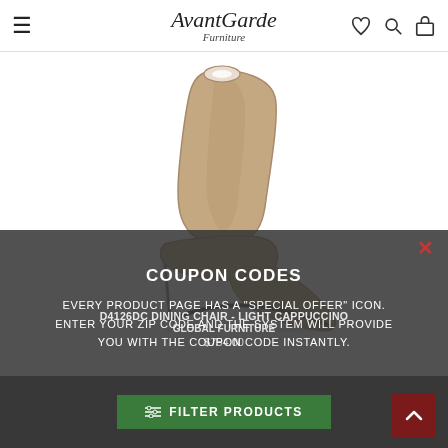AvantGarde Furniture — header with hamburger menu, logo, heart, search, and bag icons
[Figure (photo): A modern Z-shaped dining chair in light cappuccino/taupe faux leather with a chrome/black base, photographed against a white background]
COUPON CODES
EVERY PRODUCT PAGE HAS A "SPECIAL OFFER" ICON. ENTER YOUR ZIP CODE AND THE SYSTEM WILL PROVIDE YOU WITH THE COUPON CODE INSTANTLY.
D4126DC DINING CHAIR - LIGHT CAPPUCCINO
GLOBAL FURNITURE
$754.00
≡ FILTER PRODUCTS